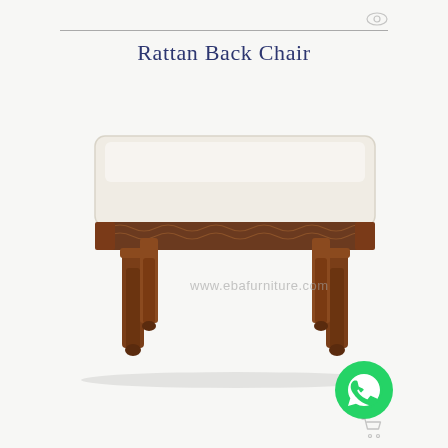Rattan Back Chair
[Figure (photo): A wooden bench/ottoman with cream/white upholstered cushion top and dark walnut wood frame with turned legs and carved rope-pattern apron detail. Watermark text 'www.ebafurniture.com' overlaid on image.]
[Figure (logo): WhatsApp green circular icon with phone handset symbol in white]